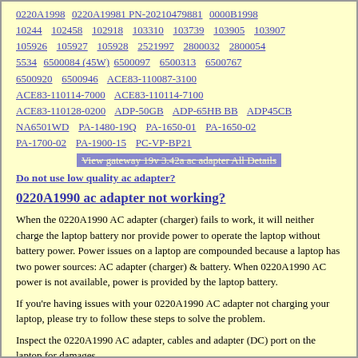0220A1998  0220A19981 PN-20210479881  0000B1998  10244  102458  102918  103310  103739  103905  103907  105926  105927  105928  2521997  2800032  2800054  5534  6500084 (45W) 6500097  6500313  6500767  6500920  6500946  ACE83-110087-3100  ACE83-110114-7000  ACE83-110114-7100  ACE83-110128-0200  ADP-50GB  ADP-65HB BB  ADP45CB  NA6501WD  PA-1480-19Q  PA-1650-01  PA-1650-02  PA-1700-02  PA-1900-15  PC-VP-BP21
View gateway 19v 3.42a ac adapter All Details
Do not use low quality ac adapter?
0220A1990 ac adapter not working?
When the 0220A1990 AC adapter (charger) fails to work, it will neither charge the laptop battery nor provide power to operate the laptop without battery power. Power issues on a laptop are compounded because a laptop has two power sources: AC adapter (charger) & battery. When 0220A1990 AC power is not available, power is provided by the laptop battery.
If you're having issues with your 0220A1990 AC adapter not charging your laptop, please try to follow these steps to solve the problem.
Inspect the 0220A1990 AC adapter, cables and adapter (DC) port on the laptop for damages
1. Check if the indicator light on the 0220A1990 adapter is lit.
2. Unplug the AC adapter from the wall outlet.
3. Unplug the 0220A1990 AC adapter from the laptop.
4. Check the AC adapter and cables (including the power cable) for